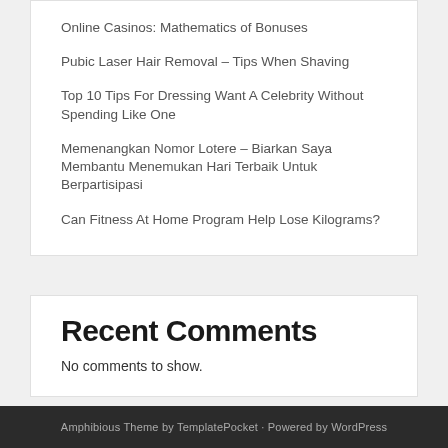Online Casinos: Mathematics of Bonuses
Pubic Laser Hair Removal – Tips When Shaving
Top 10 Tips For Dressing Want A Celebrity Without Spending Like One
Memenangkan Nomor Lotere – Biarkan Saya Membantu Menemukan Hari Terbaik Untuk Berpartisipasi
Can Fitness At Home Program Help Lose Kilograms?
Recent Comments
No comments to show.
Amphibious Theme by TemplatePocket · Powered by WordPress